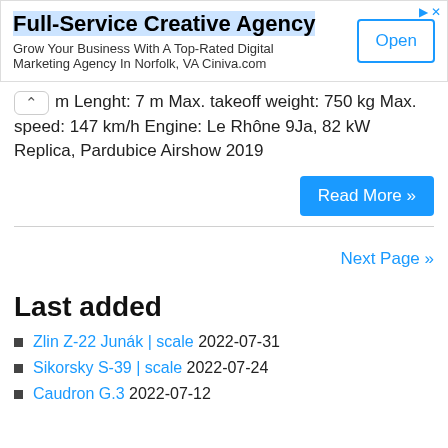[Figure (other): Advertisement banner: Full-Service Creative Agency with Open button]
m Lenght: 7 m Max. takeoff weight: 750 kg Max. speed: 147 km/h Engine: Le Rhône 9Ja, 82 kW Replica, Pardubice Airshow 2019
Read More »
Next Page »
Last added
Zlin Z-22 Junák | scale 2022-07-31
Sikorsky S-39 | scale 2022-07-24
Caudron G.3 2022-07-12